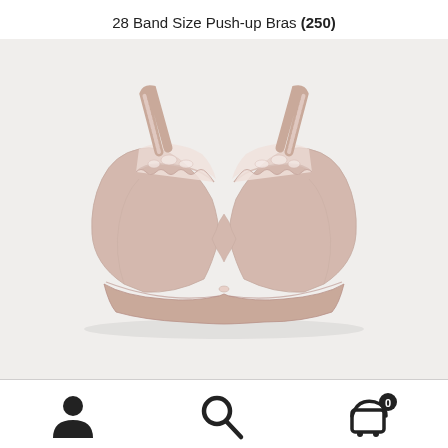28 Band Size Push-up Bras (250)
[Figure (photo): Product photo of a light pink/blush push-up bra with lace trim on cups and straps, displayed flat on a light gray background.]
[Figure (infographic): Bottom navigation bar with three icons: user/account icon, search magnifier icon, and shopping cart icon with badge showing 0.]